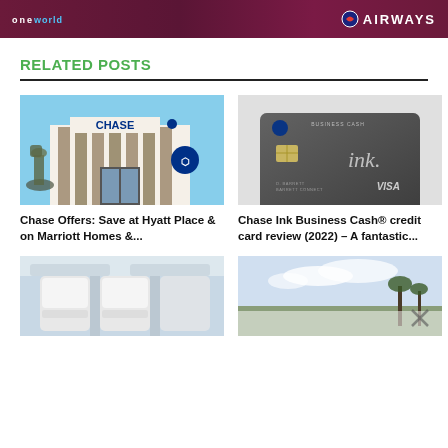[Figure (illustration): Banner advertisement for British Airways and OneWorld alliance with maroon/dark red background, white text showing 'oneworld' on left and 'AIRWAYS' in large white letters on right]
RELATED POSTS
[Figure (photo): Chase bank branch building exterior with bronze equestrian statue in front, blue sky background]
Chase Offers: Save at Hyatt Place & on Marriott Homes &...
[Figure (photo): Chase Ink Business Cash credit card with dark metallic finish showing VISA and ink logo]
Chase Ink Business Cash® credit card review (2022) – A fantastic...
[Figure (photo): Airplane cabin interior showing seats from rear perspective]
[Figure (photo): Outdoor scene with sky, clouds and palm trees with an X close button overlay]